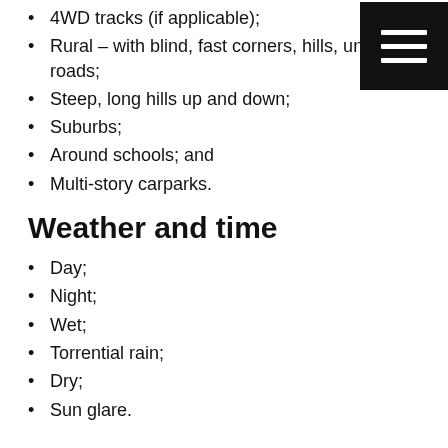4WD tracks (if applicable);
Rural – with blind, fast corners, hills, un… roads;
Steep, long hills up and down;
Suburbs;
Around schools; and
Multi-story carparks.
Weather and time
Day;
Night;
Wet;
Torrential rain;
Dry;
Sun glare.